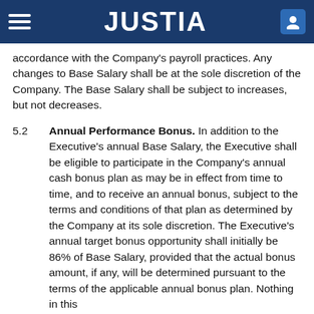JUSTIA
accordance with the Company's payroll practices. Any changes to Base Salary shall be at the sole discretion of the Company. The Base Salary shall be subject to increases, but not decreases.
5.2   Annual Performance Bonus. In addition to the Executive's annual Base Salary, the Executive shall be eligible to participate in the Company's annual cash bonus plan as may be in effect from time to time, and to receive an annual bonus, subject to the terms and conditions of that plan as determined by the Company at its sole discretion. The Executive's annual target bonus opportunity shall initially be 86% of Base Salary, provided that the actual bonus amount, if any, will be determined pursuant to the terms of the applicable annual bonus plan. Nothing in this